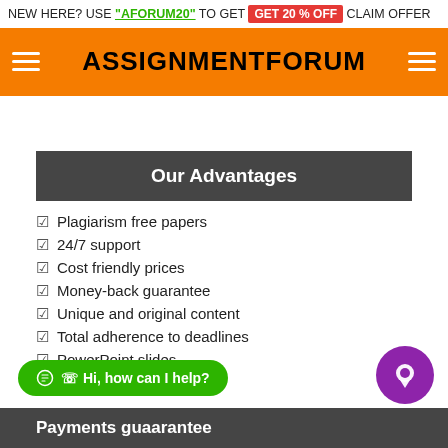NEW HERE? USE 'AFORUM20' TO GET GET 20 % OFF CLAIM OFFER
ASSIGNMENTFORUM
Our Advantages
Plagiarism free papers
24/7 support
Cost friendly prices
Money-back guarantee
Unique and original content
Total adherence to deadlines
PowerPoint slides
Payments guaarantee